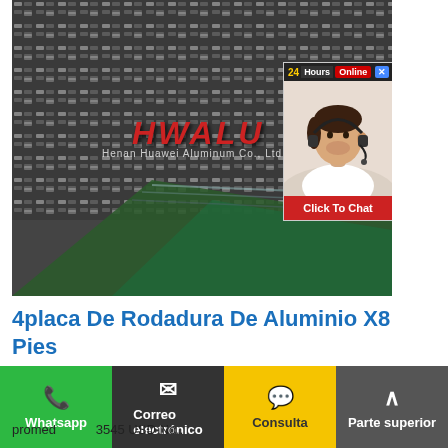[Figure (photo): Aluminum tread plate / checker plate sheets stacked, showing diamond/cross-hatch raised pattern. HWALU logo and Henan Huawei Aluminum Co., Ltd. watermark visible. A customer service chat widget overlay appears top-right with '24Hours Online' header, a photo of a smiling woman with headset, and a 'Click To Chat' red button.]
4placa De Rodadura De Aluminio X8 Pies
I: Hoja de cotización: placa de rodadura de
promed 3545 USD No..